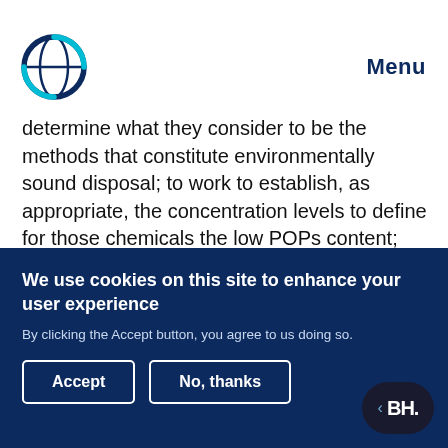Menu
determine what they consider to be the methods that constitute environmentally sound disposal; to work to establish, as appropriate, the concentration levels to define for those chemicals the low POPs content; and update, if need be, the general TGs for the ESM of wastes consisting of, containing or contaminated with POPs, and to update or develop new specific TGs under the BC.
We use cookies on this site to enhance your user experience
By clicking the Accept button, you agree to us doing so.